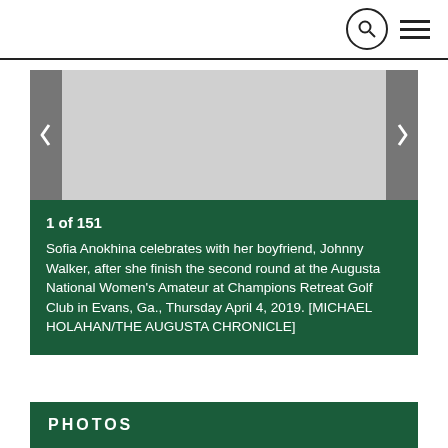[Figure (photo): Slideshow image area showing a photo placeholder with left and right navigation arrows on a light gray background.]
1 of 151
Sofia Anokhina celebrates with her boyfriend, Johnny Walker, after she finish the second round at the Augusta National Women's Amateur at Champions Retreat Golf Club in Evans, Ga., Thursday April 4, 2019. [MICHAEL HOLAHAN/THE AUGUSTA CHRONICLE]
PHOTOS